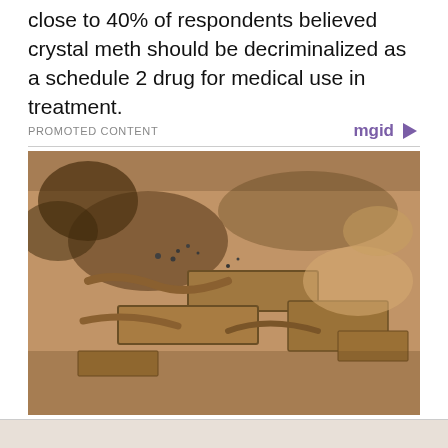close to 40% of respondents believed crystal meth should be decriminalized as a schedule 2 drug for medical use in treatment.
PROMOTED CONTENT | mgid
[Figure (photo): Aerial or overhead archaeological excavation photo showing fossilized bones or ancient artifacts embedded in sandy/rocky terrain, with rectangular stone structures visible]
Incredible Discoveries That Puzzled The Whole World
BRAINBERRIES